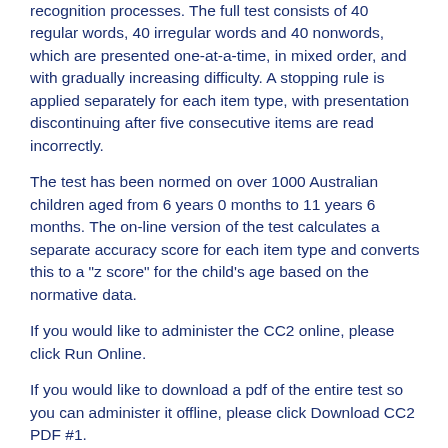recognition processes. The full test consists of 40 regular words, 40 irregular words and 40 nonwords, which are presented one-at-a-time, in mixed order, and with gradually increasing difficulty. A stopping rule is applied separately for each item type, with presentation discontinuing after five consecutive items are read incorrectly.
The test has been normed on over 1000 Australian children aged from 6 years 0 months to 11 years 6 months. The on-line version of the test calculates a separate accuracy score for each item type and converts this to a "z score" for the child's age based on the normative data.
If you would like to administer the CC2 online, please click Run Online.
If you would like to download a pdf of the entire test so you can administer it offline, please click Download CC2 PDF #1.
If you just need a record form, please click Download CC2 PDF #2.
Test access
You need to be signed in to access the tests.